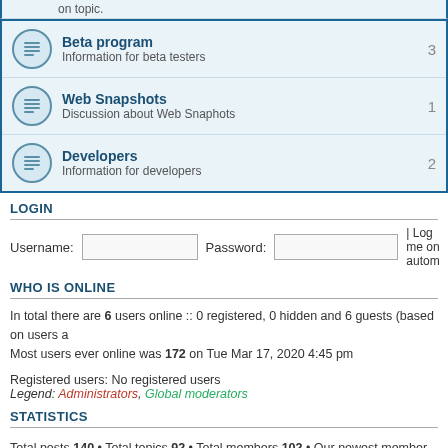on topic.
Beta program - Information for beta testers - 3
Web Snapshots - Discussion about Web Snaphots - 1
Developers - Information for developers - 2
LOGIN
Username: [input] Password: [input] | Log me on autom
WHO IS ONLINE
In total there are 6 users online :: 0 registered, 0 hidden and 6 guests (based on users a
Most users ever online was 172 on Tue Mar 17, 2020 4:45 pm
Registered users: No registered users
Legend: Administrators, Global moderators
STATISTICS
Total posts 140 • Total topics 92 • Total members 102 • Our newest member Gambler
Board index    The team • Delete all board c
Powered by phpBB® Forum Software © phpBB Gr